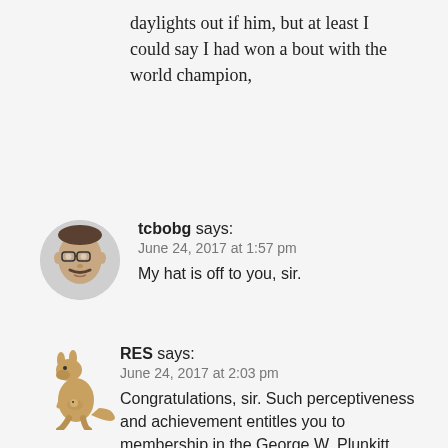daylights out if him, but at least I could say I had won a bout with the world champion,
tcbobg says:
June 24, 2017 at 1:57 pm
My hat is off to you, sir.
RES says:
June 24, 2017 at 2:03 pm
Congratulations, sir. Such perceptiveness and achievement entitles you to membership in the George W. Plunkitt Memorial Society, complete with authorization to wear a t-shirt bearing his motto: “I seen my opportunities and I took ‘em.”